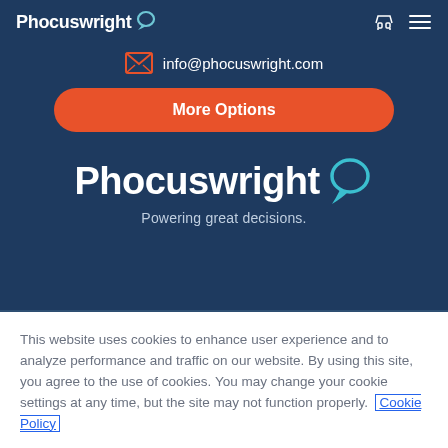Phocuswright
info@phocuswright.com
More Options
[Figure (logo): Phocuswright logo with speech bubble icon and tagline 'Powering great decisions.']
This website uses cookies to enhance user experience and to analyze performance and traffic on our website. By using this site, you agree to the use of cookies. You may change your cookie settings at any time, but the site may not function properly. Cookie Policy
Close